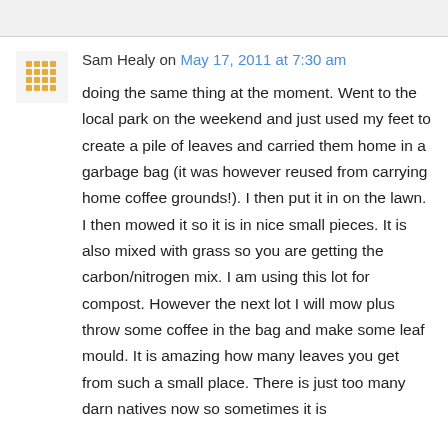Sam Healy on May 17, 2011 at 7:30 am
doing the same thing at the moment. Went to the local park on the weekend and just used my feet to create a pile of leaves and carried them home in a garbage bag (it was however reused from carrying home coffee grounds!). I then put it in on the lawn. I then mowed it so it is in nice small pieces. It is also mixed with grass so you are getting the carbon/nitrogen mix. I am using this lot for compost. However the next lot I will mow plus throw some coffee in the bag and make some leaf mould. It is amazing how many leaves you get from such a small place. There is just too many darn natives now so sometimes it is